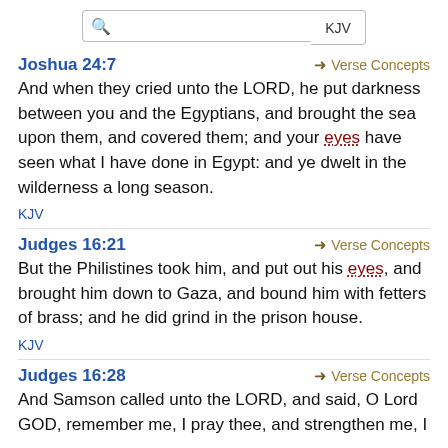Search bar with KJV selector
Joshua 24:7
And when they cried unto the LORD, he put darkness between you and the Egyptians, and brought the sea upon them, and covered them; and your eyes have seen what I have done in Egypt: and ye dwelt in the wilderness a long season.
KJV
Judges 16:21
But the Philistines took him, and put out his eyes, and brought him down to Gaza, and bound him with fetters of brass; and he did grind in the prison house.
KJV
Judges 16:28
And Samson called unto the LORD, and said, O Lord GOD, remember me, I pray thee, and strengthen me, I